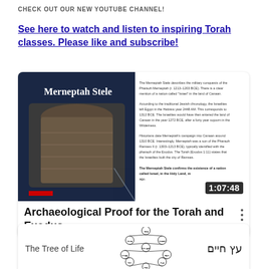CHECK OUT OUR NEW YOUTUBE CHANNEL!
See here to watch and listen to inspiring Torah classes. Please like and subscribe!
[Figure (screenshot): YouTube video thumbnail for 'Archaeological Proof for the Torah and Exodus' featuring the Merneptah Stele, with a duration timestamp of 1:07:48. The thumbnail shows a dark-blue panel with the text 'Merneptah Stele' and an image of the stone stele on the left, and descriptive text about the Merneptah Stele on the right. Video title shown below: 'Archaeological Proof for the Torah and Exodus'.]
[Figure (screenshot): Partial YouTube video thumbnail for 'The Tree of Life' showing a Kabbalah Tree of Life diagram with Hebrew text עץ חיים on the right side.]